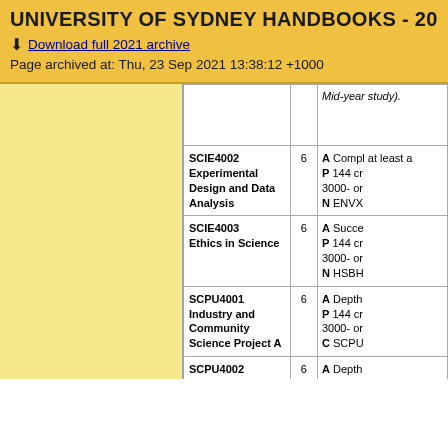UNIVERSITY OF SYDNEY HANDBOOKS - 2021
Download full 2021 archive
Page archived at: Thu, 23 Sep 2021 13:38:12 +1000
| Unit | CP | Requirements |
| --- | --- | --- |
|  |  | Mid-year study). |
| SCIE4002 Experimental Design and Data Analysis | 6 | A Compl at least a P 144 cr 3000- or N ENVX |
| SCIE4003 Ethics in Science | 6 | A Succe P 144 cr 3000- or N HSBH |
| SCPU4001 Industry and Community Science Project A | 6 | A Depth P 144 cr 3000- or C SCPU |
| SCPU4002 Industry and Community Science Project B | 6 | A Depth P 144 cr 3000- or C SCPU |